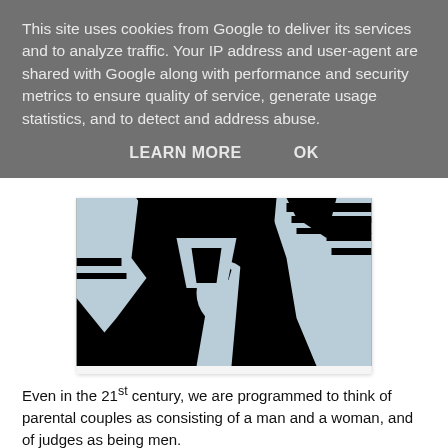This site uses cookies from Google to deliver its services and to analyze traffic. Your IP address and user-agent are shared with Google along with performance and security metrics to ensure quality of service, generate usage statistics, and to detect and address abuse.
LEARN MORE    OK
[Figure (illustration): A black and light-blue stylized illustration of multiple figures including people in formal attire, rendered in a woodcut/linocut style with strong graphic contrasts.]
Even in the 21st century, we are programmed to think of parental couples as consisting of a man and a woman, and of judges as being men.
In Britain, our press and often broadcasters seem incapable of escaping the stereotypes. Can you imagine how this story would have been reported here? I would bet almost